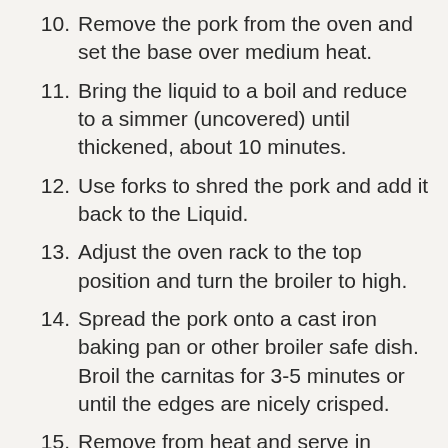10. Remove the pork from the oven and set the base over medium heat.
11. Bring the liquid to a boil and reduce to a simmer (uncovered) until thickened, about 10 minutes.
12. Use forks to shred the pork and add it back to the Liquid.
13. Adjust the oven rack to the top position and turn the broiler to high.
14. Spread the pork onto a cast iron baking pan or other broiler safe dish. Broil the carnitas for 3-5 minutes or until the edges are nicely crisped.
15. Remove from heat and serve in tacos, enchiladas, or quesadillas, or add them to the top of tortilla chips with your